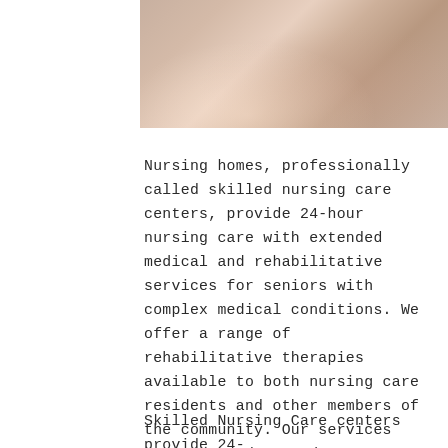[Figure (photo): Photo of a caregiver and elderly person sitting together, hands visible, indoor setting]
Nursing homes, professionally called skilled nursing care centers, provide 24-hour nursing care with extended medical and rehabilitative services for seniors with complex medical conditions. We offer a range of rehabilitative therapies available to both nursing care residents and other members of the community. Our services are centered around your lifestyle. We dedicate ourselves to provide you peace of mind and an atmosphere that delivers comfort, security, and quality of life.
Skilled Nursing Care centers provide 24-